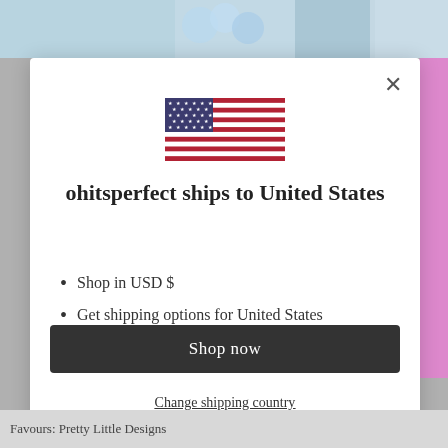[Figure (illustration): Modal dialog overlay on a website. Contains a US flag SVG, heading text, bullet points, a dark 'Shop now' button, and a 'Change shipping country' link.]
ohitsperfect ships to United States
Shop in USD $
Get shipping options for United States
Shop now
Change shipping country
Favours: Pretty Little Designs